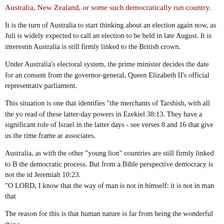Australia, New Zealand, or some such democratically run country.
It is the turn of Australia to start thinking about an election again now, as Juli is widely expected to call an election to be held in late August. It is interestin Australia is still firmly linked to the British crown.
Under Australia's electoral system, the prime minister decides the date for an consent from the governor-general, Queen Elizabeth II's official representativ parliament.
This situation is one that identifies "the merchants of Tarshish, with all the yo read of these latter-day powers in Ezekiel 38:13. They have a significant role of Israel in the latter days - see verses 8 and 16 that give us the time frame ar associates.
Australia, as with the other "young lion" countries are still firmly linked to B the democratic process. But from a Bible perspective democracy is not the id Jeremiah 10:23.
"O LORD, I know that the way of man is not in himself: it is not in man that
The reason for this is that human nature is far from being the wonderful thing